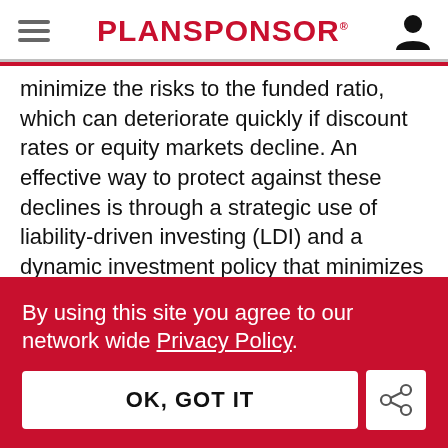PLANSPONSOR
minimize the risks to the funded ratio, which can deteriorate quickly if discount rates or equity markets decline. An effective way to protect against these declines is through a strategic use of liability-driven investing (LDI) and a dynamic investment policy that minimizes both discount rate risk and equity risk.
By using this site you agree to our network wide Privacy Policy.
OK, GOT IT